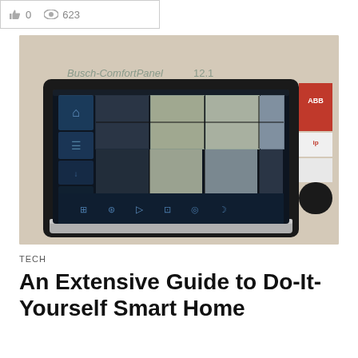0  623
[Figure (photo): A Busch-ComfortPanel 12.1 smart home touchscreen control panel displayed in a black frame, showing a grid of home automation interface icons and camera feeds on a dark blue screen. Red branded packaging visible to the right.]
TECH
An Extensive Guide to Do-It-Yourself Smart Home